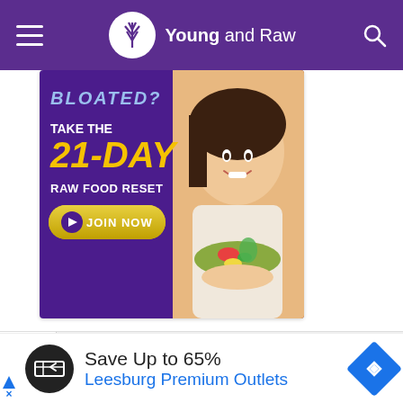Young and Raw
[Figure (advertisement): Purple background ad for '21-Day Raw Food Reset' showing woman holding salad bowl. Text: BLOATED? TAKE THE 21-DAY RAW FOOD RESET. JOIN NOW button.]
[Figure (screenshot): Mobile browser UI showing scroll progress bar with chevron down indicator]
[Figure (advertisement): Bottom banner ad: Save Up to 65% Leesburg Premium Outlets with navigation arrow icon]